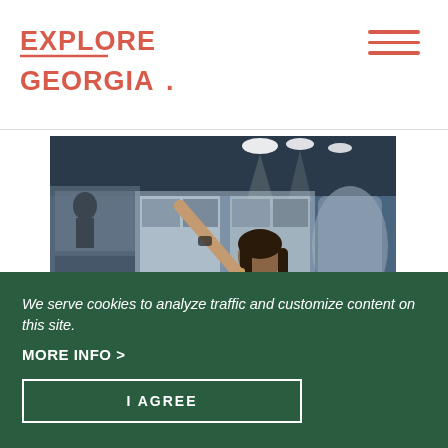EXPLORE GEORGIA.
[Figure (photo): Woman in a museum pointing at an exhibit display, looking upward at the exhibit case, with museum displays and lighting in the background.]
We serve cookies to analyze traffic and customize content on this site.
MORE INFO >
I AGREE